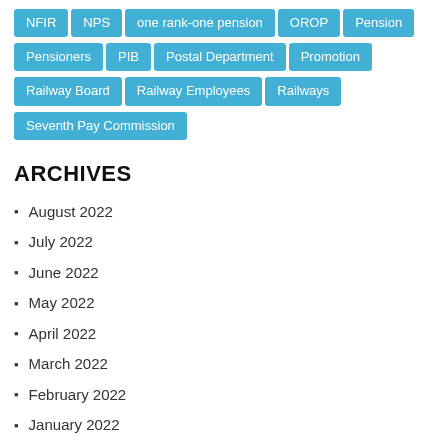NFIR
NPS
one rank-one pension
OROP
Pension
Pensioners
PIB
Postal Department
Promotion
Railway Board
Railway Employees
Railways
Seventh Pay Commission
ARCHIVES
August 2022
July 2022
June 2022
May 2022
April 2022
March 2022
February 2022
January 2022
December 2021
November 2021